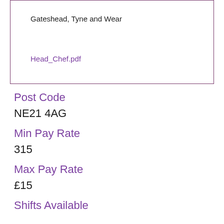Gateshead, Tyne and Wear
Head_Chef.pdf
Post Code
NE21 4AG
Min Pay Rate
315
Max Pay Rate
£15
Shifts Available